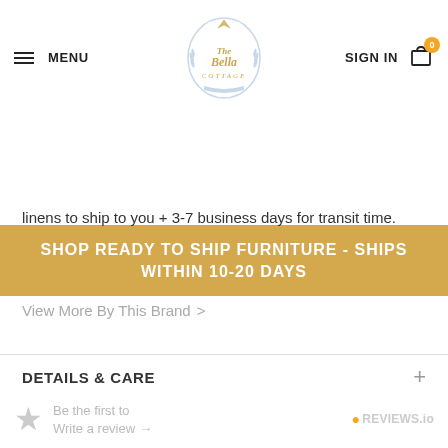MENU | The Bella Cottage logo | SIGN IN | Cart (0)
SHOP READY TO SHIP FURNITURE - SHIPS WITHIN 10-20 DAYS
linens to ship to you + 3-7 business days for transit time.
View More By This Brand >
DETAILS & CARE
SHIPPING & RETURNS
Be the first to Write a review